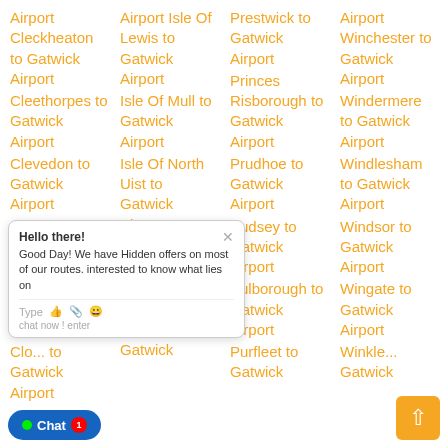Airport Cleckheaton to Gatwick Airport
Cleethorpes to Gatwick Airport
Clevedon to Gatwick Airport
Clift... to Gatwick Airport
Clo... to Gatwick Airport
Clo... to Ga... Airport
Airport Isle Of Lewis to Gatwick Airport
Isle Of Mull to Gatwick Airport
Isle Of North Uist to Gatwick Airport
Isle Of ...calpay to Gatwick Airport
Isle Of Skye to Gatwick
Prestwick to Gatwick Airport
Princes Risborough to Gatwick Airport
Prudhoe to Gatwick Airport
Pudsey to Gatwick Airport
Pulborough to Gatwick Airport
Purfleet to Gatwick
Airport Winchester to Gatwick Airport
Windermere to Gatwick Airport
Windlesham to Gatwick Airport
Windsor to Gatwick Airport
Wingate to Gatwick Airport
Winkle... Gatwick